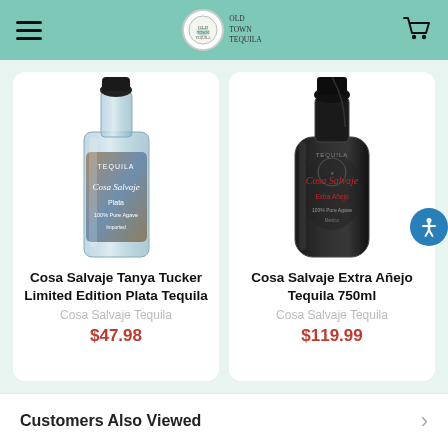Old Town Tequila - Navigation header with hamburger menu, logo, and cart icon
[Figure (photo): Cosa Salvaje Tanya Tucker Limited Edition Plata Tequila bottle - clear/blue label with cowboy on horseback]
Cosa Salvaje Tanya Tucker Limited Edition Plata Tequila
Cosa Salvaje Tequila
$47.98
[Figure (photo): Cosa Salvaje Extra Añejo Tequila 750ml bottle - black bottle with red script lettering]
Cosa Salvaje Extra Añejo Tequila 750ml
Cosa Salvaje Tequila
$119.99
Customers Also Viewed